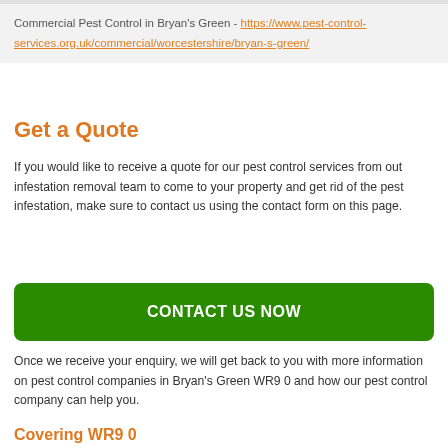Commercial Pest Control in Bryan's Green - https://www.pest-control-services.org.uk/commercial/worcestershire/bryan-s-green/
Get a Quote
If you would like to receive a quote for our pest control services from out infestation removal team to come to your property and get rid of the pest infestation, make sure to contact us using the contact form on this page.
CONTACT US NOW
Once we receive your enquiry, we will get back to you with more information on pest control companies in Bryan's Green WR9 0 and how our pest control company can help you.
Covering WR9 0